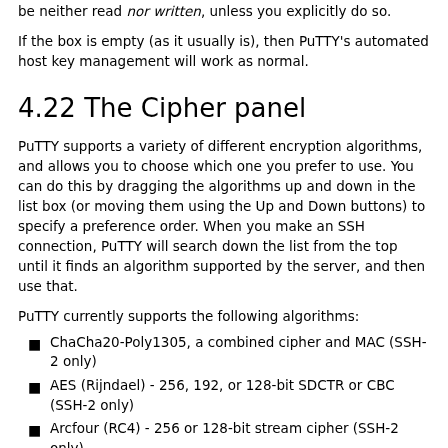be neither read nor written, unless you explicitly do so.
If the box is empty (as it usually is), then PuTTY's automated host key management will work as normal.
4.22 The Cipher panel
PuTTY supports a variety of different encryption algorithms, and allows you to choose which one you prefer to use. You can do this by dragging the algorithms up and down in the list box (or moving them using the Up and Down buttons) to specify a preference order. When you make an SSH connection, PuTTY will search down the list from the top until it finds an algorithm supported by the server, and then use that.
PuTTY currently supports the following algorithms:
ChaCha20-Poly1305, a combined cipher and MAC (SSH-2 only)
AES (Rijndael) - 256, 192, or 128-bit SDCTR or CBC (SSH-2 only)
Arcfour (RC4) - 256 or 128-bit stream cipher (SSH-2 only)
Blowfish - 256-bit SDCTR (SSH-2 only) or 128-bit CBC
Triple-DES - 168-bit SDCTR (SSH-2 only) or CBC
Single-DES - 56-bit CBC (see below for SSH-2)